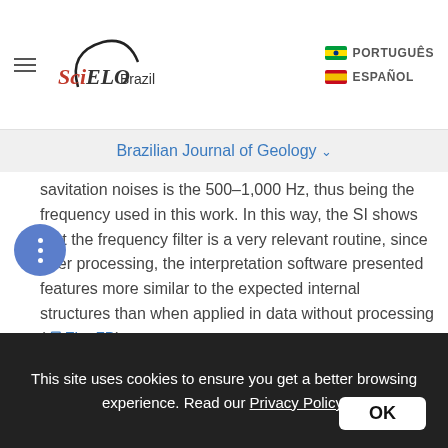SciELO Brazil | PORTUGUÊS | ESPAÑOL
Brazilian Journal of Geology
savitation noises is the 500–1,000 Hz, thus being the frequency used in this work. In this way, the SI shows that the frequency filter is a very relevant routine, since after processing, the interpretation software presented features more similar to the expected internal structures than when applied in data without processing ( Fig. 7B).
Moreover, these results obtained by open-access software (SU and SI) were compared to the ones from a commercial software. Figure 11 displays data from the open-access software used in this
This site uses cookies to ensure you get a better browsing experience. Read our Privacy Policy. OK